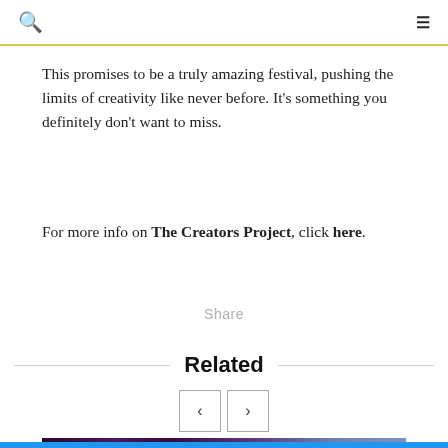🔍 ≡
This promises to be a truly amazing festival, pushing the limits of creativity like never before. It's something you definitely don't want to miss.
For more info on The Creators Project, click here.
Share
Related
[Figure (photo): Dark photograph with purple and blue lighting showing artistic festival scene]